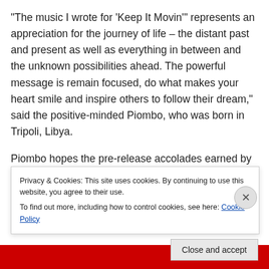“The music I wrote for ‘Keep It Movin’” represents an appreciation for the journey of life – the distant past and present as well as everything in between and the unknown possibilities ahead. The powerful message is remain focused, do what makes your heart smile and inspire others to follow their dream,” said the positive-minded Piombo, who was born in Tripoli, Libya.
Piombo hopes the pre-release accolades earned by his first album since 2013’s “The Night Speaks” will help expose his music to a larger audience. To further his
Privacy & Cookies: This site uses cookies. By continuing to use this website, you agree to their use.
To find out more, including how to control cookies, see here: Cookie Policy
Close and accept